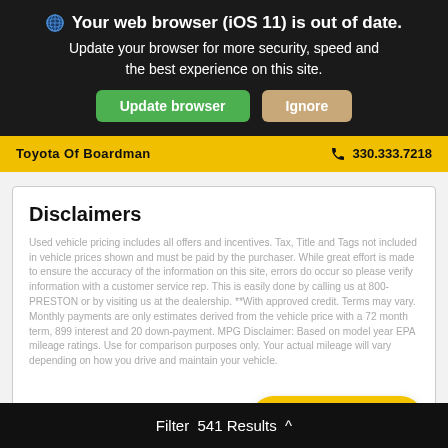Your web browser (iOS 11) is out of date. Update your browser for more security, speed and the best experience on this site.
Toyota Of Boardman   330.333.7218
Disclaimers
Used vehicle pricing includes all offers and incentives. Tax, Title and Tags not included in vehicle prices shown and must be paid by the purchaser. While great effort is made to ensure the accuracy of the information on this site, errors do occur so please verify information with a customer service rep. This is easily done by calling us at 800-PRESTON or by visiting us at the dealership. **With approved credit. Terms may vary. Monthly payments are only estimates derived from the vehicle price with a 72 month term, 899 interest and 20 down-payment. MPG Disclaimer: Based on model year EPA mileage ratings. Use for comparison purposes only. Your actual mileage will vary depending on how you drive and maintain your vehicle.
Value Your Trade
Filter  541 Results ^